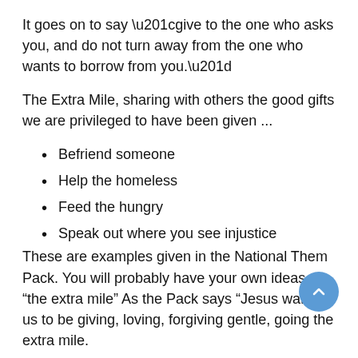It goes on to say “give to the one who asks you, and do not turn away from the one who wants to borrow from you.”
The Extra Mile, sharing with others the good gifts we are privileged to have been given ...
Befriend someone
Help the homeless
Feed the hungry
Speak out where you see injustice
These are examples given in the National Them Pack. You will probably have your own ideas of “the extra mile” As the Pack says “Jesus wants us to be giving, loving, forgiving gentle, going the extra mile.
Jesus says “whatever you do for the least of these you do for me”
I have not read through the pack yet but as I do I hope to